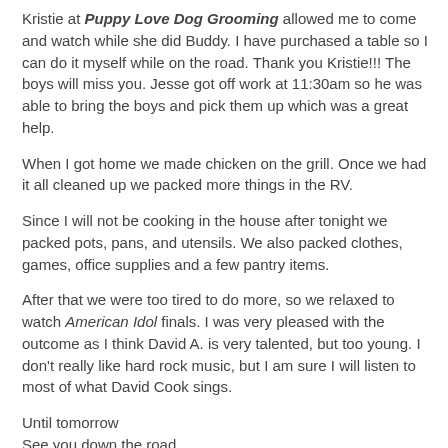Kristie at Puppy Love Dog Grooming allowed me to come and watch while she did Buddy. I have purchased a table so I can do it myself while on the road. Thank you Kristie!!! The boys will miss you. Jesse got off work at 11:30am so he was able to bring the boys and pick them up which was a great help.
When I got home we made chicken on the grill. Once we had it all cleaned up we packed more things in the RV.
Since I will not be cooking in the house after tonight we packed pots, pans, and utensils. We also packed clothes, games, office supplies and a few pantry items.
After that we were too tired to do more, so we relaxed to watch American Idol finals. I was very pleased with the outcome as I think David A. is very talented, but too young. I don't really like hard rock music, but I am sure I will listen to most of what David Cook sings.
Until tomorrow
See you down the road